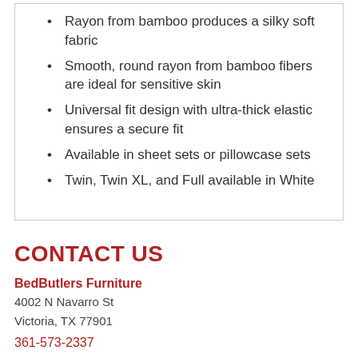Rayon from bamboo produces a silky soft fabric
Smooth, round rayon from bamboo fibers are ideal for sensitive skin
Universal fit design with ultra-thick elastic ensures a secure fit
Available in sheet sets or pillowcase sets
Twin, Twin XL, and Full available in White
CONTACT US
BedButlers Furniture
4002 N Navarro St
Victoria, TX 77901
361-573-2337